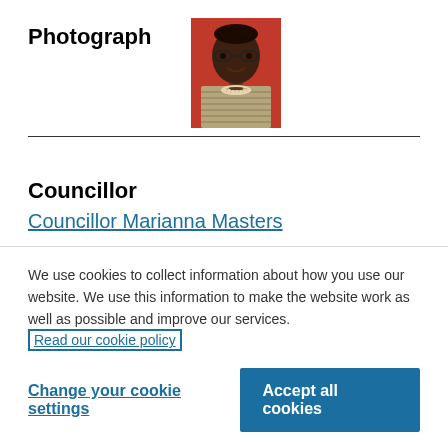Photograph
[Figure (photo): Headshot photo of Councillor Marianna Masters against a red background, a Black woman wearing glasses and a patterned outfit with a pearl necklace.]
Councillor
Councillor Marianna Masters
Deputy Cabinet Member for Children & young People
London Borough of Lambeth, Lambeth Town
We use cookies to collect information about how you use our website. We use this information to make the website work as well as possible and improve our services. Read our cookie policy
Change your cookie settings
Accept all cookies